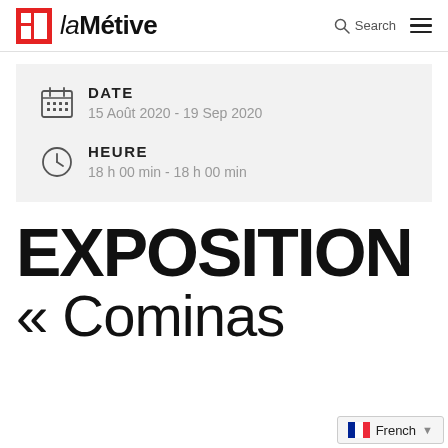laMétive
DATE
15 Août 2020 - 19 Sep 2020
HEURE
18 h 00 min - 18 h 00 min
EXPOSITION « Cominas
French